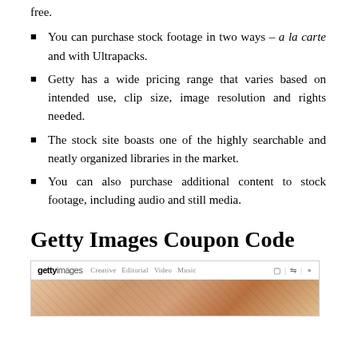free.
You can purchase stock footage in two ways – a la carte and with Ultrapacks.
Getty has a wide pricing range that varies based on intended use, clip size, image resolution and rights needed.
The stock site boasts one of the highly searchable and neatly organized libraries in the market.
You can also purchase additional content to stock footage, including audio and still media.
Getty Images Coupon Code
[Figure (screenshot): Screenshot of Getty Images website showing the navigation bar with logo, Creative, Editorial, Video, Music links and icons, plus a partial image of a person below.]